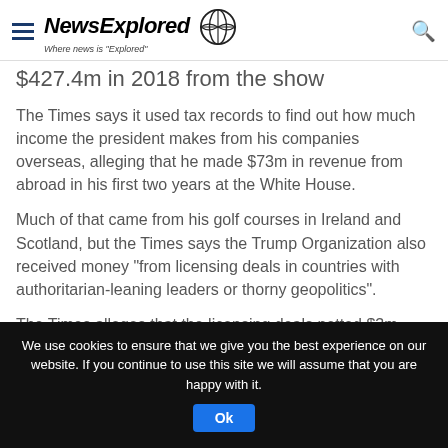NewsExplored — Where news is "Explored"
$427.4m in 2018 from the show
The Times says it used tax records to find out how much income the president makes from his companies overseas, alleging that he made $73m in revenue from abroad in his first two years at the White House.
Much of that came from his golf courses in Ireland and Scotland, but the Times says the Trump Organization also received money "from licensing deals in countries with authoritarian-leaning leaders or thorny geopolitics".
The Times alleges that the licensing deals netted $3m
We use cookies to ensure that we give you the best experience on our website. If you continue to use this site we will assume that you are happy with it.